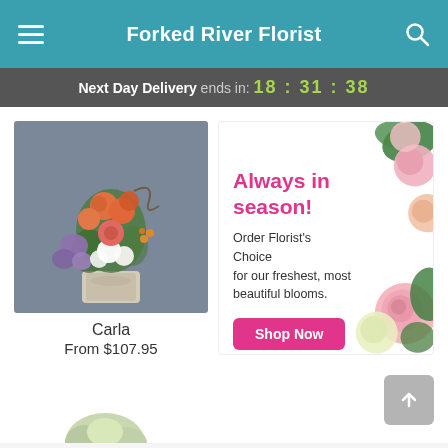Forked River Florist
Next Day Delivery ends in: 18 : 31 : 38
[Figure (photo): Flower arrangement photo showing orange roses, purple flowers, white blooms in a stone vase on gray background]
Carla
From $107.95
[Figure (infographic): Promotional banner: 'Always in season! Order Florist's Choice for our freshest, most beautiful blooms.' with Shop Now button and flower decoration]
[Figure (photo): Partial view of another flower arrangement at bottom of page]